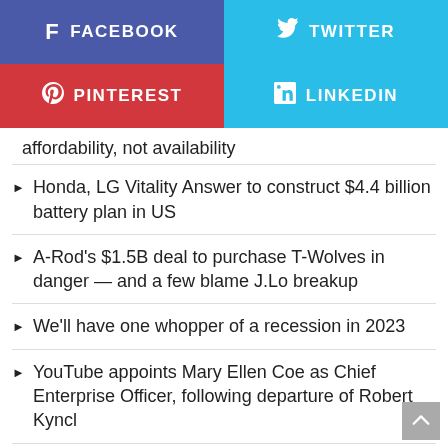[Figure (infographic): Social share buttons: Facebook (blue-purple), Twitter (light blue), Pinterest (red), LinkedIn (light blue)]
affordability, not availability
Honda, LG Vitality Answer to construct $4.4 billion battery plan in US
A-Rod's $1.5B deal to purchase T-Wolves in danger — and a few blame J.Lo breakup
We'll have one whopper of a recession in 2023
YouTube appoints Mary Ellen Coe as Chief Enterprise Officer, following departure of Robert Kyncl
Charts recommend the market might end the 12 months robust